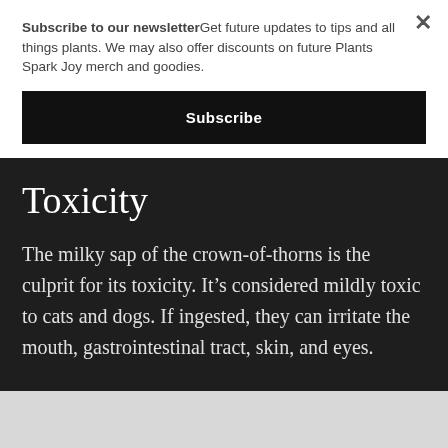Subscribe to our newsletterGet future updates to tips and all things plants. We may also offer discounts on future Plants Spark Joy merch and goodies.
Subscribe
Toxicity
The milky sap of the crown-of-thorns is the culprit for its toxicity. It’s considered mildly toxic to cats and dogs. If ingested, they can irritate the mouth, gastrointestinal tract, skin, and eyes.